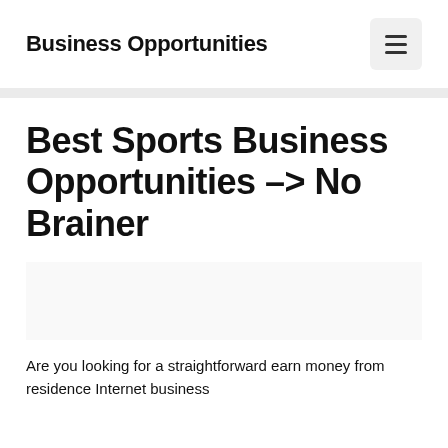Business Opportunities
Best Sports Business Opportunities –> No Brainer
Are you looking for a straightforward earn money from residence Internet business opportunity? The bright side is the